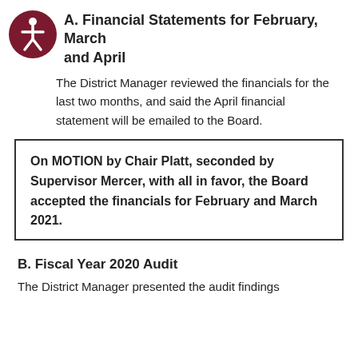A. Financial Statements for February, March and April
The District Manager reviewed the financials for the last two months, and said the April financial statement will be emailed to the Board.
On MOTION by Chair Platt, seconded by Supervisor Mercer, with all in favor, the Board accepted the financials for February and March 2021.
B. Fiscal Year 2020 Audit
The District Manager presented the audit findings